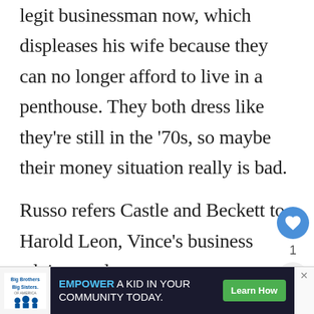legit businessman now, which displeases his wife because they can no longer afford to live in a penthouse. They both dress like they're still in the '70s, so maybe their money situation really is bad.
Russo refers Castle and Beckett to Harold Leon, Vince's business advisor and near-constant companion. An issue arises because while Russo may still dress like it's 1978, Harold actually believes that it's 1978. Vince's disappearance sent him into a state of "p... with the